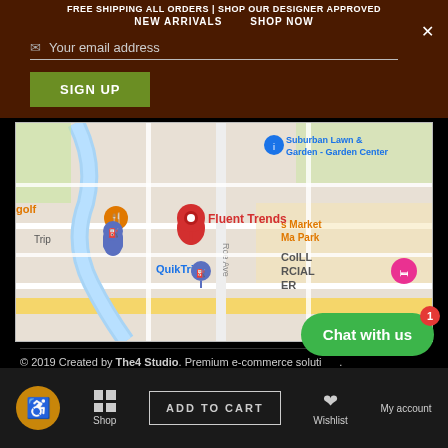FREE SHIPPING ALL ORDERS | SHOP OUR DESIGNER APPROVED NEW ARRIVALS  SHOP NOW
Your email address
SIGN UP
[Figure (map): Google Maps view showing location of Fluent Trends near Roe Ave. Nearby landmarks include QuikTrip, Suburban Lawn & Garden Center, and other local businesses. A red pin marks Fluent Trends location.]
© 2019 Created by The4 Studio. Premium e-commerce solutions.
Chat with us
ADD TO CART  Wishlist  My account  Shop